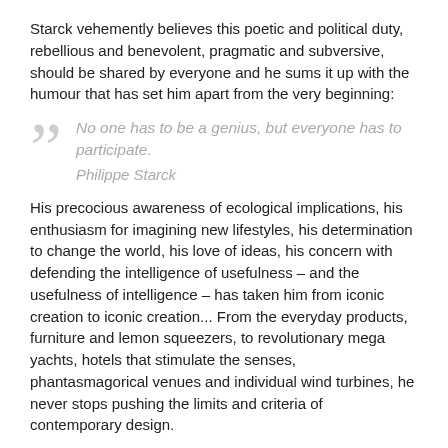Starck vehemently believes this poetic and political duty, rebellious and benevolent, pragmatic and subversive, should be shared by everyone and he sums it up with the humour that has set him apart from the very beginning:
No one has to be a genius, but everyone has to participate. – Philippe Starck
His precocious awareness of ecological implications, his enthusiasm for imagining new lifestyles, his determination to change the world, his love of ideas, his concern with defending the intelligence of usefulness – and the usefulness of intelligence – has taken him from iconic creation to iconic creation... From the everyday products, furniture and lemon squeezers, to revolutionary mega yachts, hotels that stimulate the senses, phantasmagorical venues and individual wind turbines, he never stops pushing the limits and criteria of contemporary design.